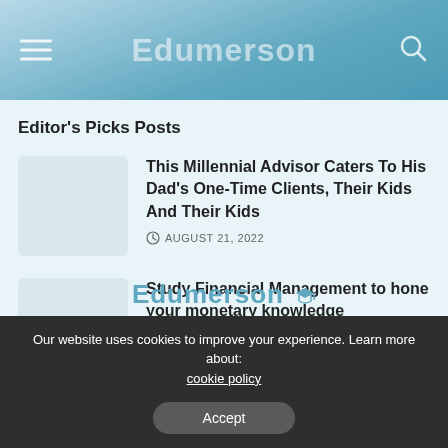Edumerson
Editor's Picks Posts
This Millennial Advisor Caters To His Dad's One-Time Clients, Their Kids And Their Kids — AUGUST 21, 2022
Study Financial Management to hone your monetary knowledge — DECEMBER 25, 2021
[Figure (logo): Edumerson logo with graduation cap icon]
Our website uses cookies to improve your experience. Learn more about: cookie policy
Accept